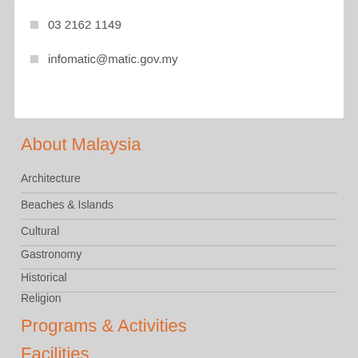03 2162 1149
infomatic@matic.gov.my
About Malaysia
Architecture
Beaches & Islands
Cultural
Gastronomy
Historical
Religion
Programs & Activities
Malaysia My Second Home
Voluntourism
Facilities